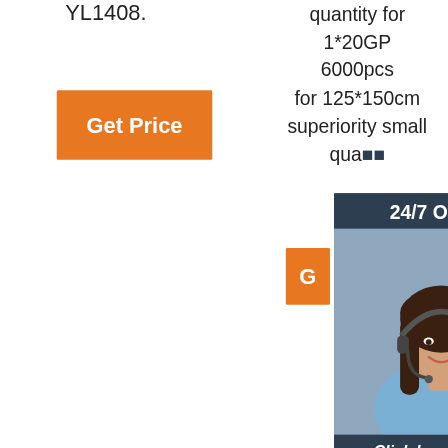YL1408.
quantity for 1*20GP 6000pcs for 125*150cm superiority small qua...
[Figure (other): Orange 'Get Price' button on the left side]
[Figure (photo): 24/7 Online chat support widget with a woman wearing a headset, dark navy background, 'Click here for free chat!' text, and an orange QUOTATION button]
acrylic door design rug pad anti-slip natural genuine fur carpet rug living room
no 3 invisible zipper closed zipper dress sheepskin sheep fur pillow case quilt cover hidden sheepskin sheep fur pillow
invisible nylon zipper sale
exosub quality printable sheepskin sheep fur pillow cover black white heat transfer
hot selling baby muslin sheepskin sheep fur blankets